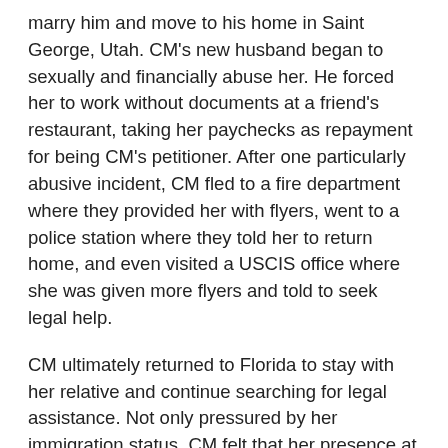marry him and move to his home in Saint George, Utah. CM's new husband began to sexually and financially abuse her. He forced her to work without documents at a friend's restaurant, taking her paychecks as repayment for being CM's petitioner. After one particularly abusive incident, CM fled to a fire department where they provided her with flyers, went to a police station where they told her to return home, and even visited a USCIS office where she was given more flyers and told to seek legal help.
CM ultimately returned to Florida to stay with her relative and continue searching for legal assistance. Not only pressured by her immigration status, CM felt that her presence at her relative's home wasn't welcome. CM's pursuit of help was met with voicemails and responses that organizations were too busy or too full to help her. Finally, one of the flyers led CM to Tahoe SAFE Alliance, part of Sierra Community House and the Family Resource Center of Truckee, Calif. She was thrilled that a live person had